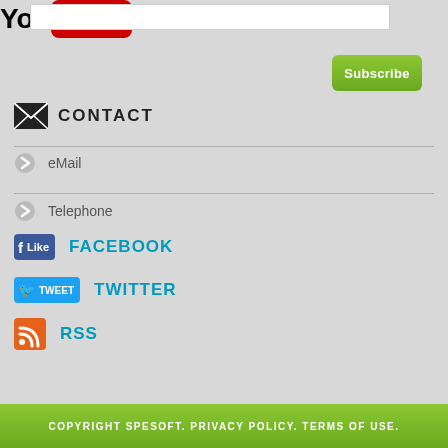[Figure (other): Text input box (subscription email field)]
[Figure (other): Green Subscribe button]
CONTACT
eMail
Telephone
[Figure (other): Facebook Like button and FACEBOOK label]
[Figure (other): Twitter Tweet button and TWITTER label]
[Figure (other): RSS icon and RSS label]
[Figure (other): YouTube logo]
COPYRIGHT SPESOFT. PRIVACY POLICY. TERMS OF USE.